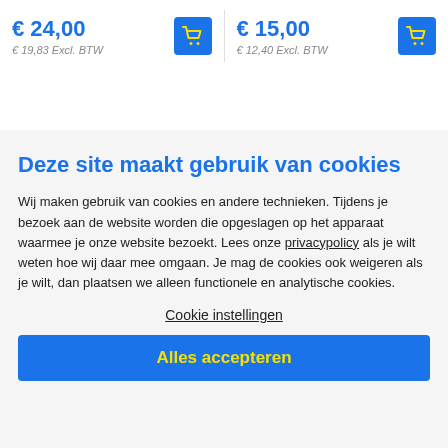€ 24,00
€ 19,83 Excl. BTW
€ 15,00
€ 12,40 Excl. BTW
Deze site maakt gebruik van cookies
Wij maken gebruik van cookies en andere technieken. Tijdens je bezoek aan de website worden die opgeslagen op het apparaat waarmee je onze website bezoekt. Lees onze privacypolicy als je wilt weten hoe wij daar mee omgaan. Je mag de cookies ook weigeren als je wilt, dan plaatsen we alleen functionele en analytische cookies.
Cookie instellingen
Alles accepteren